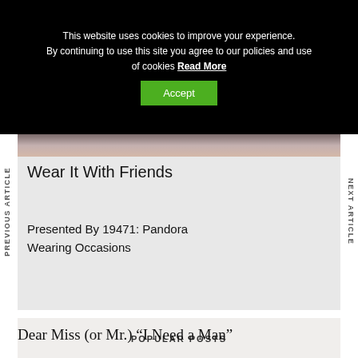This website uses cookies to improve your experience. By continuing to use this site you agree to our policies and use of cookies Read More
Accept
PREVIOUS ARTICLE
NEXT ARTICLE
Wear It With Friends
Presented By 19471: Pandora Wearing Occasions
POPULAR POSTS
Dear Miss (or Mr.) “I Need a Man”